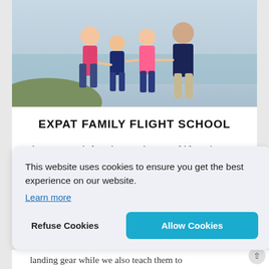[Figure (photo): Family of four (mother, two children, father) walking on beach, holding hands, wearing pink and navy clothing, with ocean in background]
EXPAT FAMILY FLIGHT SCHOOL
Are you worried you're messing your kids up by moving internationally? That's pretty normal. The benefits of growing up "abroad" can be huge and through
This website uses cookies to ensure you get the best experience on our website.
Learn more
Refuse Cookies
Allow Cookies
landing gear while we also teach them to